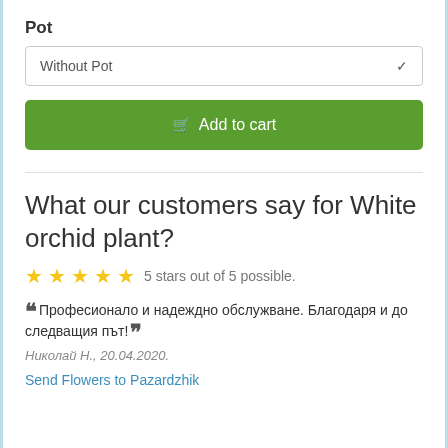Pot
Without Pot
Add to cart
What our customers say for White orchid plant?
5 stars out of 5 possible.
“Професионало и надеждно обслужване. Благодаря и до следващия път!”
Николай Н., 20.04.2020.
Send Flowers to Pazardzhik